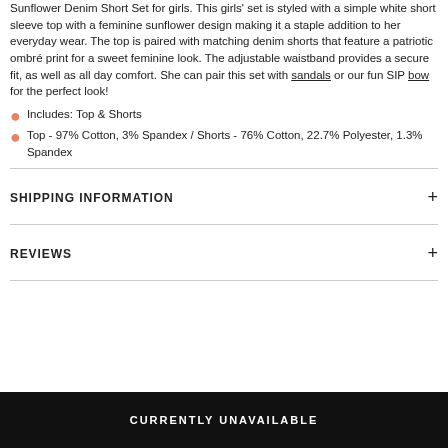Sunflower Denim Short Set for girls. This girls' set is styled with a simple white short sleeve top with a feminine sunflower design making it a staple addition to her everyday wear. The top is paired with matching denim shorts that feature a patriotic ombré print for a sweet feminine look. The adjustable waistband provides a secure fit, as well as all day comfort. She can pair this set with sandals or our fun SIP bow for the perfect look!
Includes: Top & Shorts
Top - 97% Cotton, 3% Spandex / Shorts - 76% Cotton, 22.7% Polyester, 1.3% Spandex
SHIPPING INFORMATION
REVIEWS
CURRENTLY UNAVAILABLE